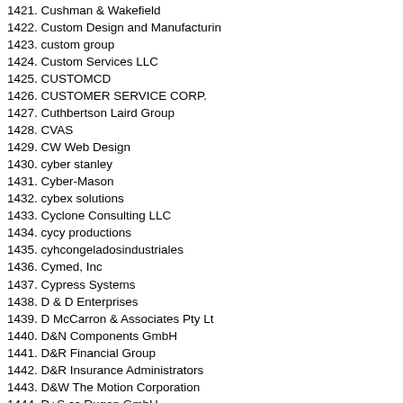1421. Cushman & Wakefield
1422. Custom Design and Manufacturin
1423. custom group
1424. Custom Services LLC
1425. CUSTOMCD
1426. CUSTOMER SERVICE CORP.
1427. Cuthbertson Laird Group
1428. CVAS
1429. CW Web Design
1430. cyber stanley
1431. Cyber-Mason
1432. cybex solutions
1433. Cyclone Consulting LLC
1434. cycy productions
1435. cyhcongeladosindustriales
1436. Cymed, Inc
1437. Cypress Systems
1438. D & D Enterprises
1439. D McCarron & Associates Pty Lt
1440. D&N Components GmbH
1441. D&R Financial Group
1442. D&R Insurance Administrators
1443. D&W The Motion Corporation
1444. D+S cc Rugen GmbH
1445. D.O.C
1446. D2LED